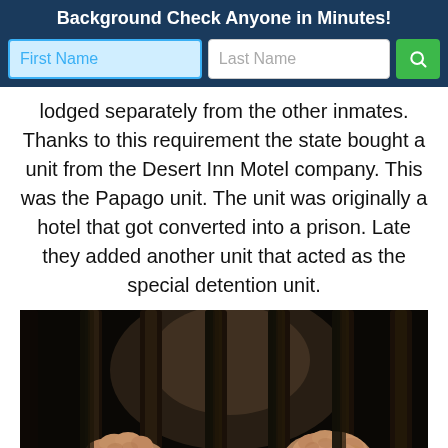Background Check Anyone in Minutes!
[Figure (screenshot): Search form with First Name and Last Name input fields and a green search button]
lodged separately from the other inmates. Thanks to this requirement the state bought a unit from the Desert Inn Motel company. This was the Papago unit. The unit was originally a hotel that got converted into a prison. Late they added another unit that acted as the special detention unit.
[Figure (photo): Close-up photo of two hands gripping prison bars from behind, with dark background and vertical metal bars in foreground]